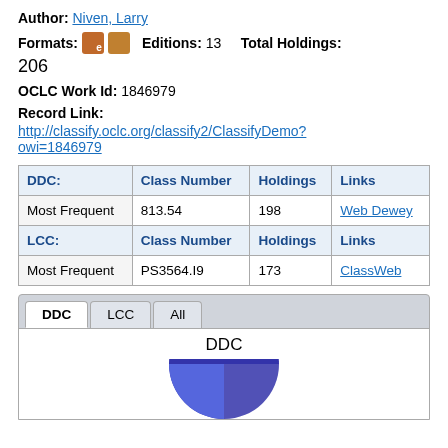Author: Niven, Larry
Formats: [ebook icon] [book icon]   Editions: 13   Total Holdings: 206
OCLC Work Id: 1846979
Record Link:
http://classify.oclc.org/classify2/ClassifyDemo?owi=1846979
| DDC: | Class Number | Holdings | Links |
| --- | --- | --- | --- |
| Most Frequent | 813.54 | 198 | Web Dewey |
| LCC: | Class Number | Holdings | Links |
| Most Frequent | PS3564.I9 | 173 | ClassWeb |
[Figure (pie-chart): Pie chart showing DDC classification distribution, partially visible at bottom of page]